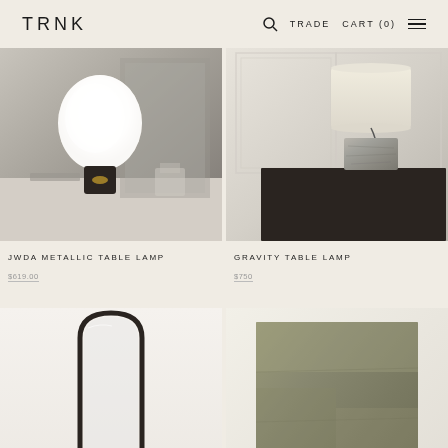TRNK | TRADE | CART (0)
[Figure (photo): JWDA Metallic Table Lamp product photo: white globe lamp on dark cylindrical base with golden accent, placed on a marble surface with a mirror in the background]
[Figure (photo): Gravity Table Lamp product photo: table lamp with cylindrical white linen shade and textured stone/concrete base on dark cabinet against white paneled wall]
JWDA METALLIC TABLE LAMP
GRAVITY TABLE LAMP
[Figure (photo): Tall arched full-length floor mirror with thin dark metal frame, shown against white background]
[Figure (photo): Area rug in muted olive/sage green tones with slight texture variation]